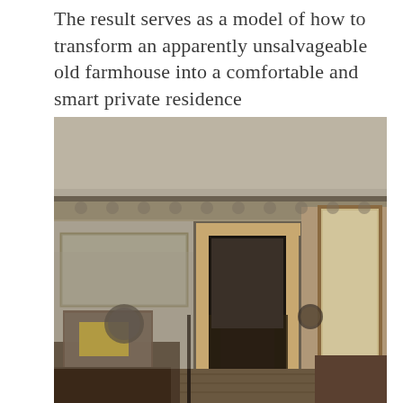The result serves as a model of how to transform an apparently unsalvageable old farmhouse into a comfortable and smart private residence
[Figure (photo): Interior of an old farmhouse showing a hallway with weathered fresco walls, ornate painted frieze near the ceiling, wooden door frames, a wingback chair with floral upholstery and yellow pillow in the foreground, wall-mounted clock on the right, and views through to further rooms.]